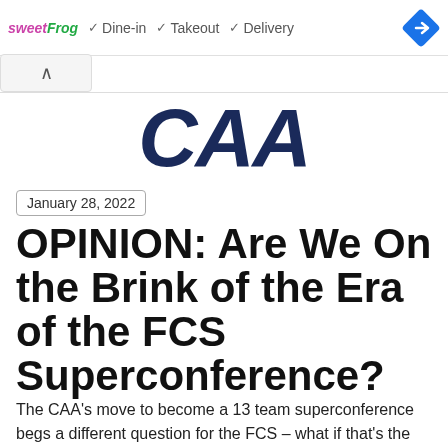sweetFrog ✓ Dine-in ✓ Takeout ✓ Delivery
[Figure (logo): CAA logo in dark navy blue bold italic text]
January 28, 2022
OPINION: Are We On the Brink of the Era of the FCS Superconference?
The CAA's move to become a 13 team superconference begs a different question for the FCS – what if that's the only way forward for any number of smaller FCS conferences? Are we on